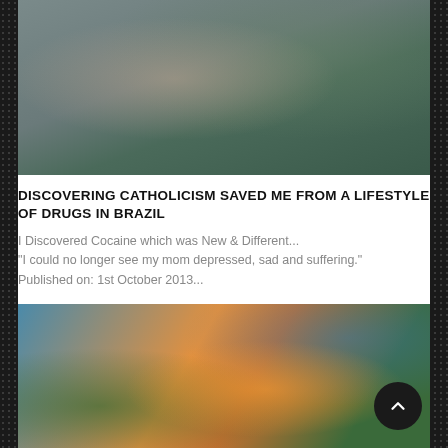[Figure (photo): A double-exposed or composite photo showing a man's face overlaid with a mountain landscape scene]
DISCOVERING CATHOLICISM SAVED ME FROM A LIFESTYLE OF DRUGS IN BRAZIL
I Discovered Cocaine which was New & Different... "I could no longer see my mom depressed, sad and suffering." Published on: 1st October 2013...
[Figure (photo): A colorful photo showing an orange/warm diagonal shape crossing over a green and blue outdoor scene with plants and sky]